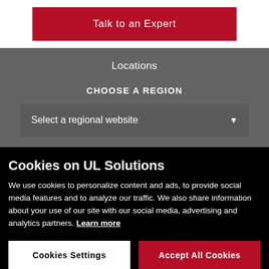Talk to an Expert
Locations
CHOOSE A REGION
Select a regional website
Cookies on UL Solutions
We use cookies to personalize content and ads, to provide social media features and to analyze our traffic. We also share information about your use of our site with our social media, advertising and analytics partners. Learn more
Cookies Settings
Accept All Cookies